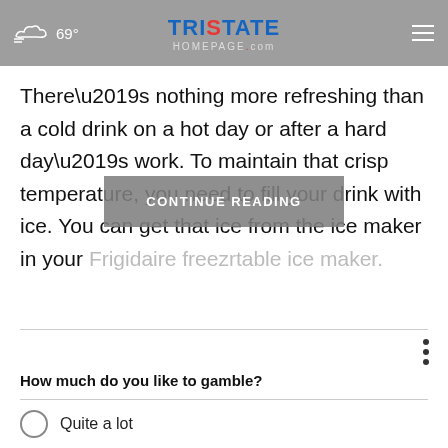69° Tristate Homepage.com
There’s nothing more refreshing than a cold drink on a hot day or after a hard day’s work. To maintain that crisp temperature, you need to fill your drink with ice. You can get that ice from the ice maker in your Frigidaire freez… portable ice maker.
CONTINUE READING
How much do you like to gamble?
Quite a lot
Just a bit
Not at all